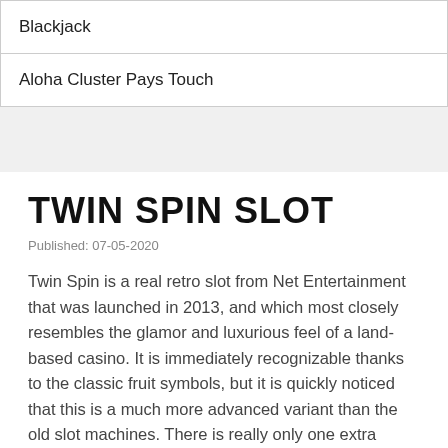| Blackjack |
| Aloha Cluster Pays Touch |
TWIN SPIN SLOT
Published: 07-05-2020
Twin Spin is a real retro slot from Net Entertainment that was launched in 2013, and which most closely resembles the glamor and luxurious feel of a land-based casino. It is immediately recognizable thanks to the classic fruit symbols, but it is quickly noticed that this is a much more advanced variant than the old slot machines. There is really only one extra